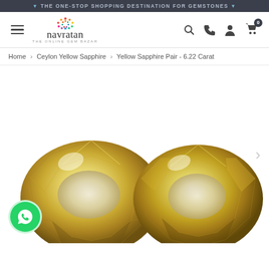THE ONE-STOP SHOPPING DESTINATION FOR GEMSTONES
[Figure (screenshot): Navratan - The Online Gem Bazar logo with colorful dot mandala and navigation bar with hamburger menu, search, phone, account, and cart icons]
Home > Ceylon Yellow Sapphire > Yellow Sapphire Pair - 6.22 Carat
[Figure (photo): Two oval-cut yellow sapphire gemstones side by side on white background, showing faceted yellow/golden color with light center. WhatsApp chat button visible at bottom left. Next arrow at right.]